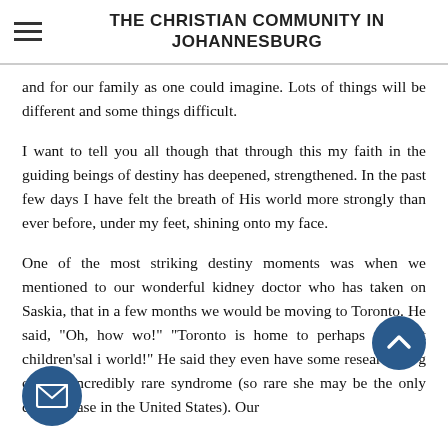THE CHRISTIAN COMMUNITY IN JOHANNESBURG
and for our family as one could imagine. Lots of things will be different and some things difficult.
I want to tell you all though that through this my faith in the guiding beings of destiny has deepened, strengthened. In the past few days I have felt the breath of His world more strongly than ever before, under my feet, shining onto my face.
One of the most striking destiny moments was when we mentioned to our wonderful kidney doctor who has taken on Saskia, that in a few months we would be moving to Toronto. He said, "Oh, how wo...!" "Toronto is home to perhaps the best children's...al i... world!" He said they even have some researchers ...g on this incredibly rare syndrome (so rare she may be the only current case in the United States). Our